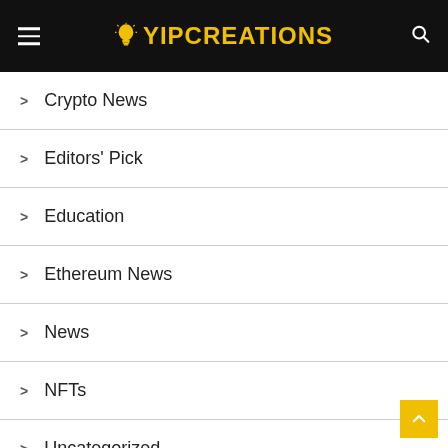YIPCREATIONS
Crypto News
Editors' Pick
Education
Ethereum News
News
NFTs
Uncategorized